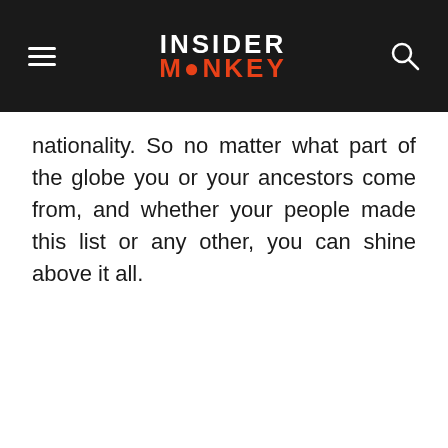INSIDER MONKEY
nationality. So no matter what part of the globe you or your ancestors come from, and whether your people made this list or any other, you can shine above it all.